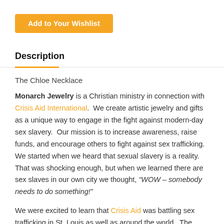Add to Your Wishlist
Description
The Chloe Necklace
Monarch Jewelry is a Christian ministry in connection with Crisis Aid International.  We create artistic jewelry and gifts as a unique way to engage in the fight against modern-day sex slavery.  Our mission is to increase awareness, raise funds, and encourage others to fight against sex trafficking.  We started when we heard that sexual slavery is a reality.  That was shocking enough, but when we learned there are sex slaves in our own city we thought, “WOW – somebody needs to do something!”
We were excited to learn that Crisis Aid was battling sex trafficking in St. Louis as well as around the world.  The more we learned about the difference they are making in the lives of